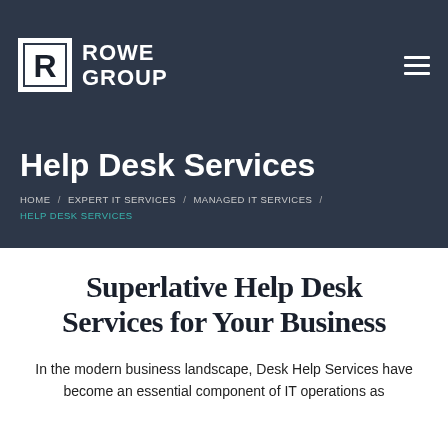[Figure (logo): Rowe Group logo with white R icon and text 'ROWE GROUP' on dark navy header, with hamburger menu icon top right]
Help Desk Services
HOME / EXPERT IT SERVICES / MANAGED IT SERVICES / HELP DESK SERVICES
Superlative Help Desk Services for Your Business
In the modern business landscape, Desk Help Services have become an essential component of IT operations as